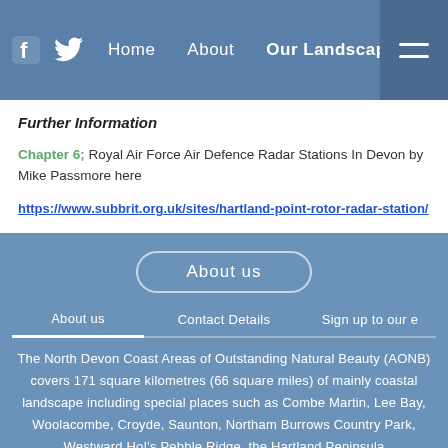Home  About  Our Landscape
Further Information
Chapter 6; Royal Air Force Air Defence Radar Stations In Devon by Mike Passmore here
https://www.subbrit.org.uk/sites/hartland-point-rotor-radar-station/
About us
About us
Contact Details
Sign up to our e
The North Devon Coast Areas of Outstanding Natural Beauty (AONB) covers 171 square kilometres (66 square miles) of mainly coastal landscape including special places such as Combe Martin, Lee Bay, Woolacombe, Croyde, Saunton, Northam Burrows Country Park, Westward Ho!'s Pebble Ridge, the Hartland Peninsula